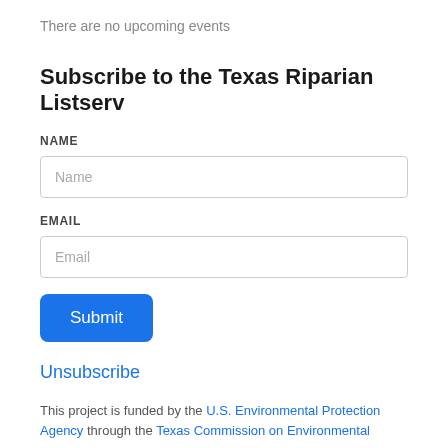There are no upcoming events
Subscribe to the Texas Riparian Listserv
NAME
Name
EMAIL
Email
Submit
Unsubscribe
This project is funded by the U.S. Environmental Protection Agency through the Texas Commission on Environmental